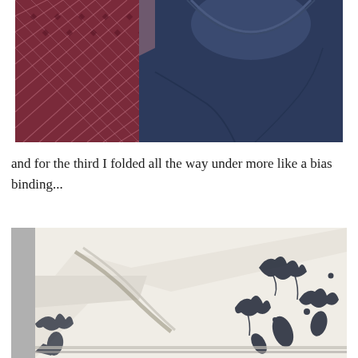[Figure (photo): Close-up photo of a navy blue t-shirt with a burgundy/dark red patterned fabric panel at the shoulder/yoke area. The pattern features a diamond/lattice design. The neckline area is shown.]
and for the third I folded all the way under more like a bias binding...
[Figure (photo): Close-up photo of a white fabric with dark navy blue floral/botanical print pattern. The fabric is folded showing a bias binding technique at the neckline or edge of a garment.]